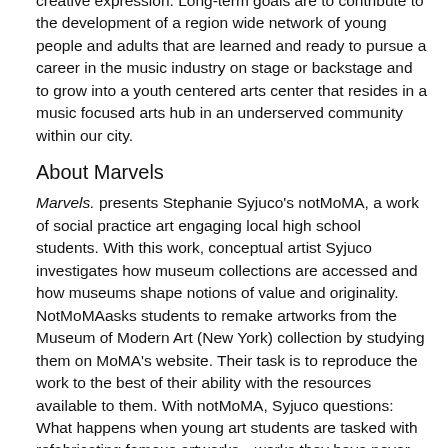creative expression. Long-term goals are to contribute to the development of a region wide network of young people and adults that are learned and ready to pursue a career in the music industry on stage or backstage and to grow into a youth centered arts center that resides in a music focused arts hub in an underserved community within our city.
About Marvels
Marvels. presents Stephanie Syjuco's notMoMA, a work of social practice art engaging local high school students. With this work, conceptual artist Syjuco investigates how museum collections are accessed and how museums shape notions of value and originality. NotMoMAasks students to remake artworks from the Museum of Modern Art (New York) collection by studying them on MoMA's website. Their task is to reproduce the work to the best of their ability with the resources available to them. With notMoMA, Syjuco questions: What happens when young art students are tasked with refabricating famous artworks—works they have never seen in person? Do the aura of famous artworks still exist when remade by others?
About We.Construct.Marvels.Between.Monuments
We.Construct.Marvels.Between.Monuments. is a series of five